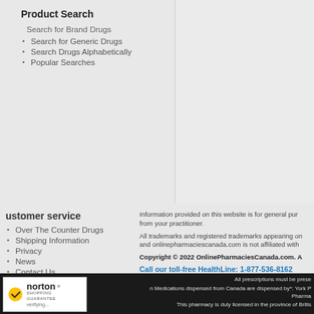Product Search
Search for Brand Drugs
Search for Generic Drugs
Search Drugs Alphabetically
Popular Searches
ustomer service
Over The Counter Drugs
Shipping Information
Privacy
News
Contact Us
Sitemap
Blog
Information provided on this website is for general purposes only and is not intended to replace advice from your practitioner.
All trademarks and registered trademarks appearing on this website are the property of their respective owners and onlinepharmaciescanada.com is not affiliated with them.
Copyright © 2022 OnlinePharmaciesCanada.com. A
Call our toll-free HealthLine: 1-877-536-8162
[Figure (other): Red button: Learn More About Ailments]
[Figure (logo): Norton Shopping Guarantee badge with checkmark logo and verifying... text]
All prescriptions must be prese
n Medications dispensed from Canada are dispensed by*: York P Pharma
This pharmacy is duly licensed in the province of Britis